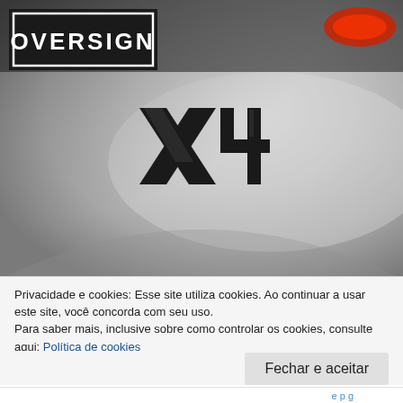[Figure (photo): Photo of a silver BMW X4 car rear badge (X4 emblem in black chrome), with red brake light visible at top. OVERSIGN logo overlaid in top-left corner.]
Privacidade e cookies: Esse site utiliza cookies. Ao continuar a usar este site, você concorda com seu uso.
Para saber mais, inclusive sobre como controlar os cookies, consulte aqui: Política de cookies
Fechar e aceitar